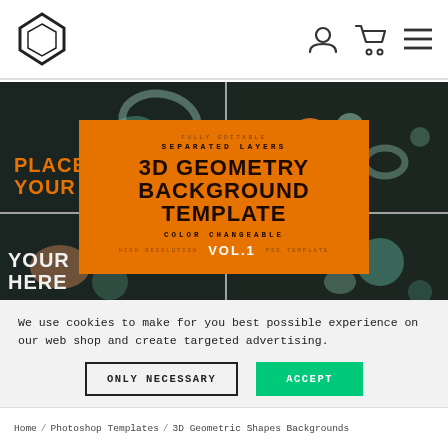[Figure (screenshot): Website navigation bar with a geometric diamond/cube logo on left, user account icon, shopping cart icon, and hamburger menu icon on right]
[Figure (illustration): Grid of 3D geometry background template product images on dark background showing floating geometric shapes (torus, spheres, cylinders) in teal/gray with orange accents. Overlaid orange card showing product info: FULLY EDITABLE, SEPARATED LAYERS, 3D GEOMETRY BACKGROUND TEMPLATE, COLOR CHANGEABLE, VOL.1, HIGH RESOLUTION, PSD TEMPLATE]
We use cookies to make for you best possible experience on our web shop and create targeted advertising.
ONLY NECESSARY
ACCEPT
Home / Photoshop Templates / 3D Geometric Shapes Backgrounds